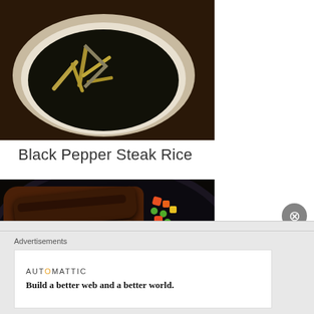[Figure (photo): Top portion of a dark soup or black sesame dessert in a white bowl on a saucer, viewed from above on a dark wooden table]
Black Pepper Steak Rice
[Figure (photo): A plate of Black Pepper Steak Rice with steak in brown gravy, a mound of white rice, and mixed vegetables (carrots, peas, corn) on a dark patterned plate]
Advertisements
[Figure (logo): Automattic logo and tagline: Build a better web and a better world.]